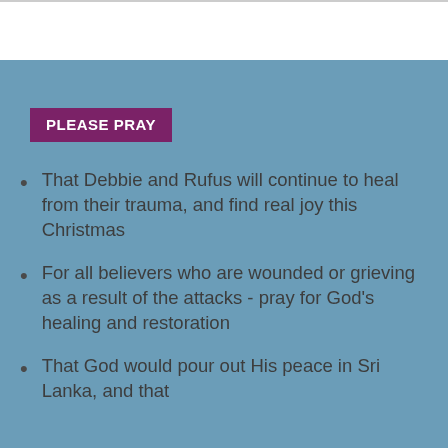PLEASE PRAY
That Debbie and Rufus will continue to heal from their trauma, and find real joy this Christmas
For all believers who are wounded or grieving as a result of the attacks - pray for God's healing and restoration
That God would pour out His peace in Sri Lanka, and that